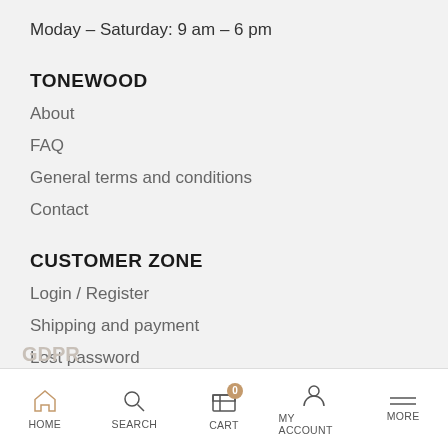Moday – Saturday: 9 am – 6 pm
TONEWOOD
About
FAQ
General terms and conditions
Contact
CUSTOMER ZONE
Login / Register
Shipping and payment
Lost password
Logout
Cancellation info & Cancellation form
GDPR
Privacy p...
HOME   SEARCH   CART   MY ACCOUNT   MORE